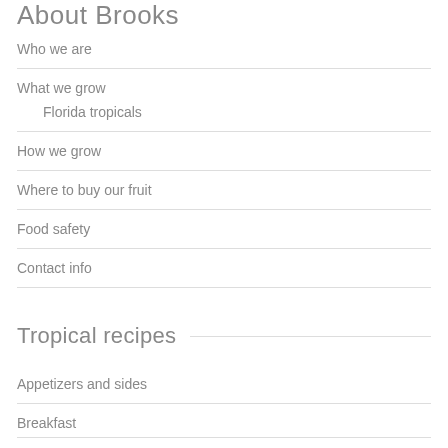About Brooks
Who we are
What we grow
Florida tropicals
How we grow
Where to buy our fruit
Food safety
Contact info
Tropical recipes
Appetizers and sides
Breakfast